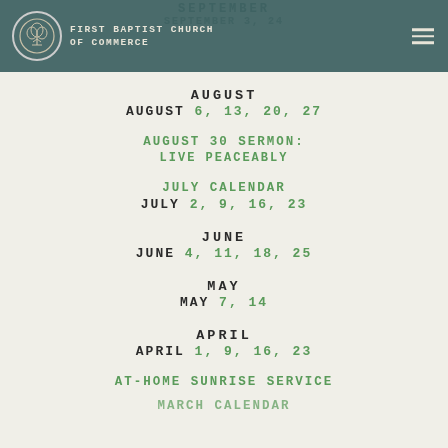First Baptist Church of Commerce
SEPTEMBER / SEPTEMBER 3, 24
AUGUST
AUGUST 6, 13, 20, 27
AUGUST 30 SERMON: LIVE PEACEABLY
JULY CALENDAR
JULY 2, 9, 16, 23
JUNE
JUNE 4, 11, 18, 25
MAY
MAY 7, 14
APRIL
APRIL 1, 9, 16, 23
AT-HOME SUNRISE SERVICE
MARCH CALENDAR